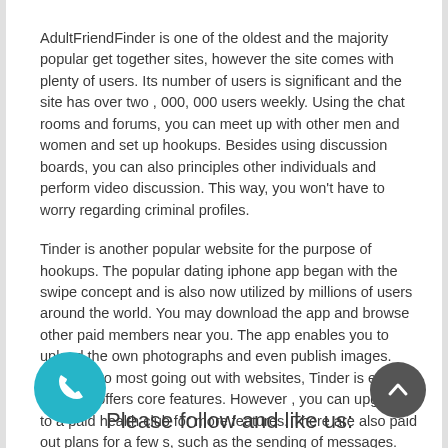AdultFriendFinder is one of the oldest and the majority popular get together sites, however the site comes with plenty of users. Its number of users is significant and the site has over two , 000, 000 users weekly. Using the chat rooms and forums, you can meet up with other men and women and set up hookups. Besides using discussion boards, you can also principles other individuals and perform video discussion. This way, you won't have to worry regarding criminal profiles.
Tinder is another popular website for the purpose of hookups. The popular dating iphone app began with the swipe concept and is also now utilized by millions of users around the world. You may download the app and browse other paid members near you. The app enables you to upload the own photographs and even publish images. Contrary to most going out with websites, Tinder is entirely free and offers core features. However , you can upgrade to a paid health club for more features. There are also paid out plans for a few s, such as the sending of messages.
Please follow and like us: